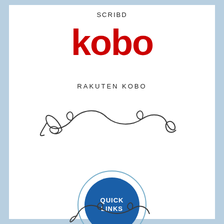SCRIBD
kobo
RAKUTEN KOBO
[Figure (illustration): Decorative swirl/flourish divider in dark gray]
[Figure (illustration): Blue circle with white text reading QUICK LINKS, with a light blue outline ring around it]
[Figure (illustration): Decorative swirl/flourish divider in dark gray (partial, bottom of page)]